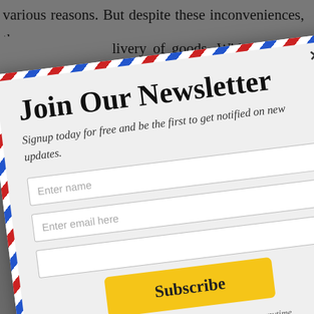various reasons. But despite these inconveniences, they
livery of goods. Without them, the
ces iety. the chain evant at f ALL to
Join Our Newsletter
Signup today for free and be the first to get notified on new updates.
Enter name
Enter email here
Subscribe
and don't worry, we hate spam too! You can unsubscribe at anytime.